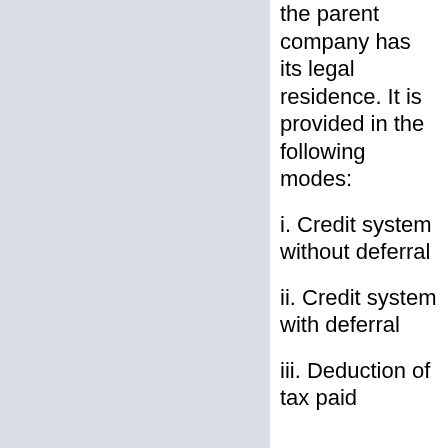the parent company has its legal residence. It is provided in the following modes:
i. Credit system without deferral
ii. Credit system with deferral
iii. Deduction of tax paid